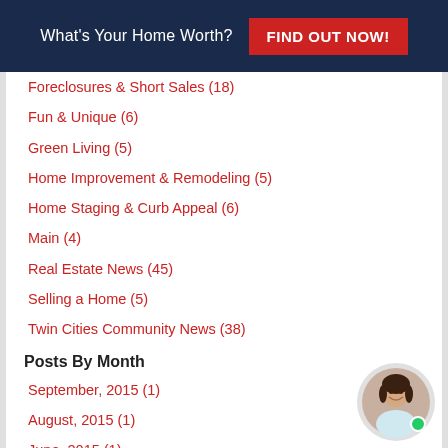What's Your Home Worth? FIND OUT NOW!
Foreclosures & Short Sales  (18)
Fun & Unique  (6)
Green Living  (5)
Home Improvement & Remodeling  (5)
Home Staging & Curb Appeal  (6)
Main  (4)
Real Estate News  (45)
Selling a Home  (5)
Twin Cities Community News  (38)
Posts By Month
September, 2015  (1)
August, 2015  (1)
June, 2015  (1)
View More
[Figure (photo): Circular avatar photo of a woman with dark hair, smiling, with a green online indicator dot.]